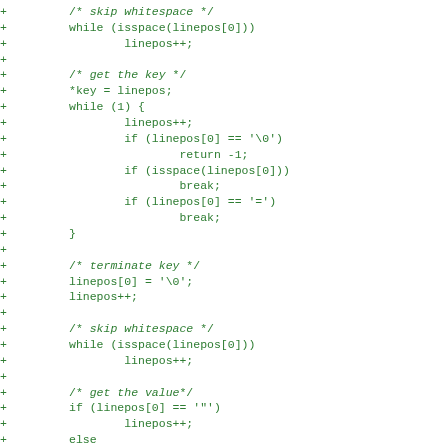[Figure (other): Diff/patch code snippet in green monospace showing C code for parsing key-value pairs from a line buffer, with lines prefixed by '+' indicating added lines in a diff.]